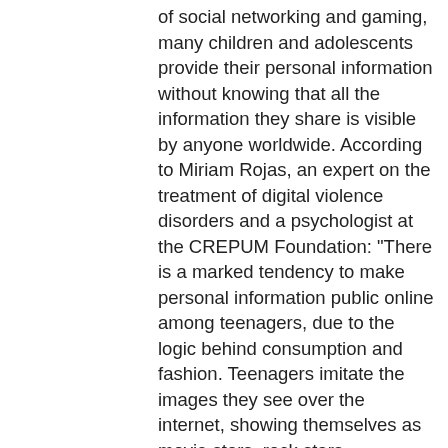of social networking and gaming, many children and adolescents provide their personal information without knowing that all the information they share is visible by anyone worldwide. According to Miriam Rojas, an expert on the treatment of digital violence disorders and a psychologist at the CREPUM Foundation: "There is a marked tendency to make personal information public online among teenagers, due to the logic behind consumption and fashion. Teenagers imitate the images they see over the internet, showing themselves as movie stars, rock stars, celebrities and top models, assuming their bodies and images are products for the market, and disregarding the fact that they are engaging in potential risk behaviour."